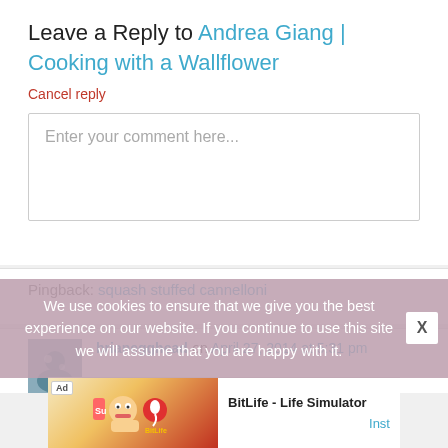Leave a Reply to Andrea Giang | Cooking with a Wallflower
Cancel reply
Enter your comment here...
Pingback: squash stuffed cannelloni
brianegghead on April 27, 2014 at 5:31 pm
We use cookies to ensure that we give you the best experience on our website. If you continue to use this site we will assume that you are happy with it.
[Figure (screenshot): Ad banner for BitLife - Life Simulator with Install button]